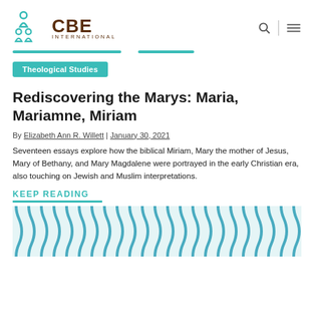CBE International
Theological Studies
Rediscovering the Marys: Maria, Mariamne, Miriam
By Elizabeth Ann R. Willett | January 30, 2021
Seventeen essays explore how the biblical Miriam, Mary the mother of Jesus, Mary of Bethany, and Mary Magdalene were portrayed in the early Christian era, also touching on Jewish and Muslim interpretations.
KEEP READING
[Figure (illustration): Decorative wavy vertical stripe pattern in teal/blue and white, repeating across the full width.]